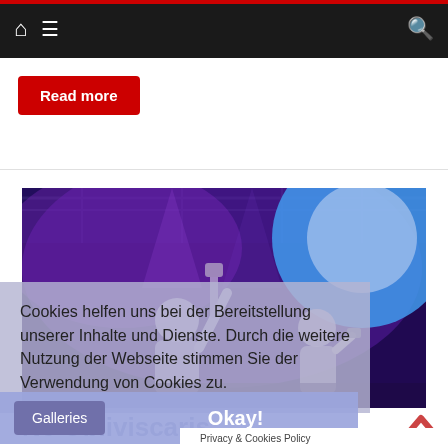Navigation bar with home, menu, and search icons
Read more
[Figure (photo): Concert photo showing musicians on stage with purple and blue stage lighting, one person with guitar raised, bright blue spotlight on right side]
Cookies helfen uns bei der Bereitstellung unserer Inhalte und Dienste. Durch die weitere Nutzung der Webseite stimmen Sie der Verwendung von Cookies zu.
Galleries
Okay!
Ne Obliviscaris
Privacy & Cookies Policy